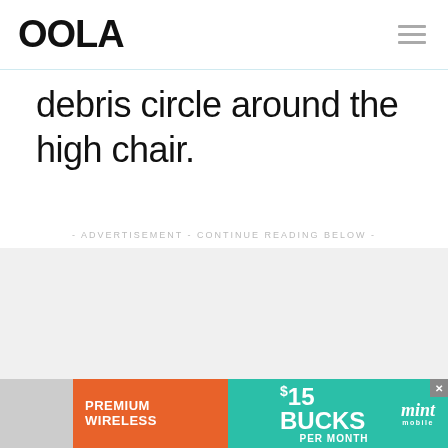OOLA
debris circle around the high chair.
- ADVERTISEMENT - CONTINUE READING BELOW -
[Figure (other): Advertisement banner for Mint Mobile: PREMIUM WIRELESS $15 BUCKS PER MONTH with mint mobile logo and cartoon mascot character]